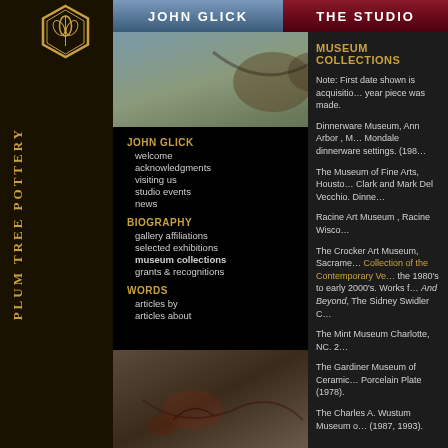JOHN GLICK | THE STUDIO
[Figure (photo): Top decorative photo of ceramic/pottery textures in earth tones]
JOHN GLICK
welcome
acknowledgments
visiting us
studio events
news
BIOGRAPHY
gallery affiliations
selected exhibitions
museum collections
grants & recognitions
WORDS
articles by
articles about
MUSEUM COLLECTIONS
Note: First date shown is acquisition date, second year piece was made.
Dinnerware Museum, Ann Arbor , MI. Mondale dinnerware settings. (198…
The Museum of Fine Arts, Houston. Clark and Mark Del Vecchio. Dinne…
Racine Art Museum , Racine Wisc…
The Crocker Art Museum, Sacramento. Collection of the Contemporary Ve… the 1980's to early 2000's. Works f… And Beyond, The Sidney Swidler C…
The Mint Museum Charlotte, NC. 2…
The Gardiner Museum of Ceramic… Porcelain Plate (1978).
The Charles A. Wustum Museum o… (1987, 1993).
[Figure (photo): Bottom decorative photo of ceramic/pottery textures with earth tones, red and brown marks]